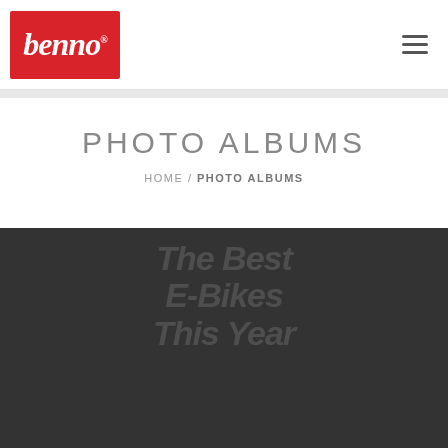[Figure (logo): Benno brand logo — white italic script text 'benno.' with registered trademark symbol on a red rectangular background]
PHOTO ALBUMS
HOME / PHOTO ALBUMS
[Figure (photo): Bicycle photo with green and yellow color-blocked background, watermark text reading 'The Best E-Bikes This Year']
We use cookies for functional and analytical purposes. Please agree or refuse the use of cookies on this website. You can revoke your consent at any time using the Revoke Consent button on our Cookie Policy page. For more information, please read our Privacy Policy.
YES, I AGREE   NO   PRIVACY POLICY